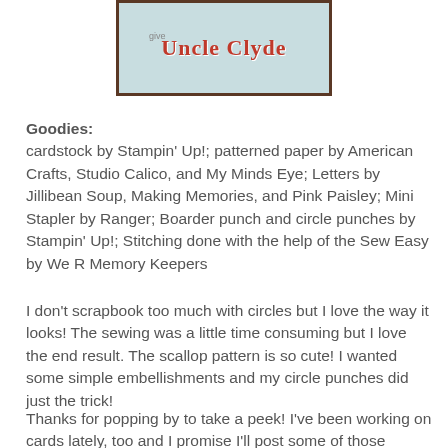[Figure (illustration): Cropped image of a scrapbook page with 'Uncle Clyde' text in red cursive on a light blue background with a dark brown border]
Goodies:
cardstock by Stampin' Up!; patterned paper by American Crafts, Studio Calico, and My Minds Eye; Letters by Jillibean Soup, Making Memories, and Pink Paisley; Mini Stapler by Ranger; Boarder punch and circle punches by Stampin' Up!; Stitching done with the help of the Sew Easy by We R Memory Keepers
I don't scrapbook too much with circles but I love the way it looks! The sewing was a little time consuming but I love the end result. The scallop pattern is so cute! I wanted some simple embellishments and my circle punches did just the trick!
Thanks for popping by to take a peek! I've been working on cards lately, too and I promise I'll post some of those